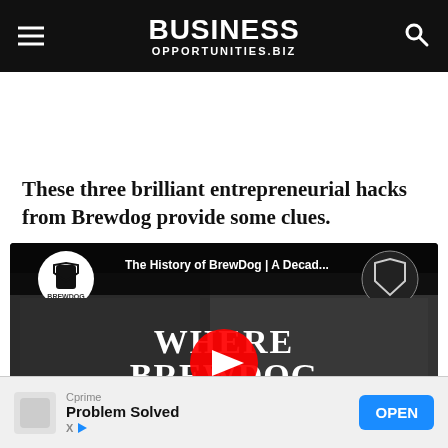BUSINESS OPPORTUNITIES.BIZ
These three brilliant entrepreneurial hacks from Brewdog provide some clues.
[Figure (screenshot): YouTube video thumbnail showing 'The History of BrewDog | A Decad...' with two men and text 'WHERE BREWDOG' overlaid, with YouTube play button and BrewDog Network logo]
Cprime Problem Solved OPEN